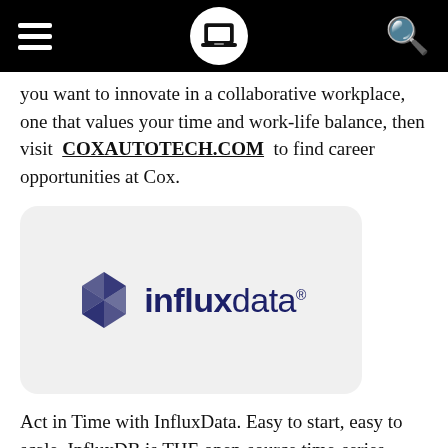[Navigation header with hamburger menu, laptop icon, and search icon]
you want to innovate in a collaborative workplace, one that values your time and work-life balance, then visit COXAUTOTECH.COM to find career opportunities at Cox.
[Figure (logo): InfluxData logo: geometric diamond/crystal shape in dark navy blue on the left, followed by the wordmark 'influxdata' with a registered trademark symbol, in dark navy blue on a light gray rounded rectangle card.]
Act in Time with InfluxData. Easy to start, easy to scale. InfluxDB is THE open-source time-series